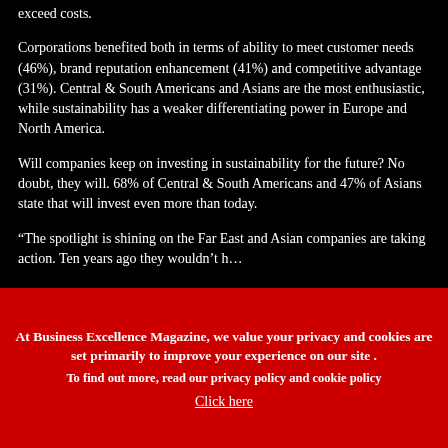exceed costs.
Corporations benefited both in terms of ability to meet customer needs (46%), brand reputation enhancement (41%) and competitive advantage (31%). Central & South Americans and Asians are the most enthusiastic, while sustainability has a weaker differentiating power in Europe and North America.
Will companies keep on investing in sustainability for the future? No doubt, they will. 68% of Central & South Americans and 47% of Asians state that will invest even more than today.
“The spotlight is shining on the Far East and Asian companies are taking action. Ten years ago they wouldn’t h…
At Business Excellence Magazine, we value your privacy and cookies are set primarily to improve your experience on our site . To find out more, read our privacy policy and cookie policy Click here